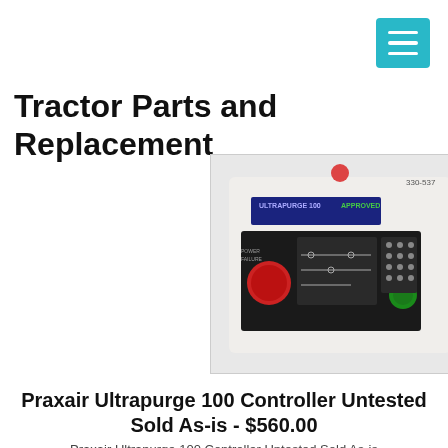Tractor Parts and Replacement
[Figure (photo): Photo of a Praxair Ultrapurge 100 Controller unit with red and green buttons, a display screen, and keypad.]
Praxair Ultrapurge 100 Controller Untested Sold As-is - $560.00
Praxair Ultrapurge 100 Controller Untested Sold As-is
It Shows Signs Of Use And Handling, Such As, Minor Scuffing And Scratching. Otherwise, The Physical Condition Of The Unit Is Good An... There Model It Ultrapurge 100. The Product As Subject To...